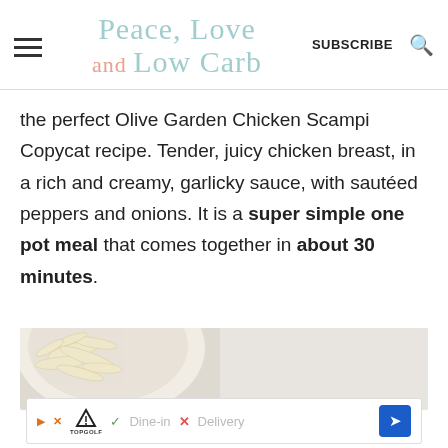Peace, Love and Low Carb | SUBSCRIBE
the perfect Olive Garden Chicken Scampi Copycat recipe. Tender, juicy chicken breast, in a rich and creamy, garlicky sauce, with sautéed peppers and onions. It is a super simple one pot meal that comes together in about 30 minutes.
[Figure (photo): Close-up photo of shredded parmesan cheese on a white plate, top portion visible]
Dine-in  X  Delivery — TopGolf ad banner